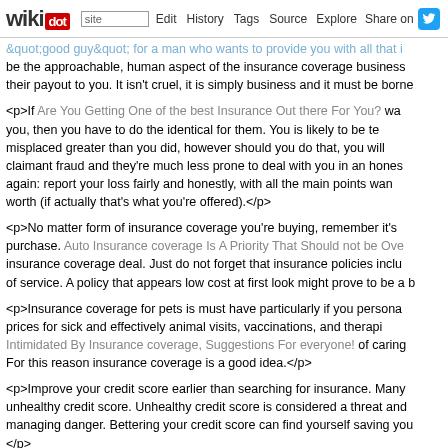wikidot | site | Edit | History | Tags | Source | Explore | Share on [Twitter]
"good guy" for a man who wants to provide you with all that i be the approachable, human aspect of the insurance coverage business their payout to you. It isn't cruel, it is simply business and it must be borne
<p>If Are You Getting One of the best Insurance Out there For You? you, then you have to do the identical for them. You is likely to be te misplaced greater than you did, however should you do that, you will claimant fraud and they're much less prone to deal with you in an hones again: report your loss fairly and honestly, with all the main points wan worth (if actually that's what you're offered).</p>
<p>No matter form of insurance coverage you're buying, remember it's purchase. Auto Insurance coverage Is A Priority That Should not be Ove insurance coverage deal. Just do not forget that insurance policies inclu of service. A policy that appears low cost at first look might prove to be a b
<p>Insurance coverage for pets is must have particularly if you persona prices for sick and effectively animal visits, vaccinations, and therapi Intimidated By Insurance coverage, Suggestions For everyone! of caring For this reason insurance coverage is a good idea.</p>
<p>Improve your credit score earlier than searching for insurance. Many unhealthy credit score. Unhealthy credit score is considered a threat and managing danger. Bettering your credit score can find yourself saving you </p>
<p>Ask your insurance agent for a list of the discounts they offer, and qualify. If you don't use an agent, verify with the web site you utilize and on the search can provide help to save some huge cash.</p>